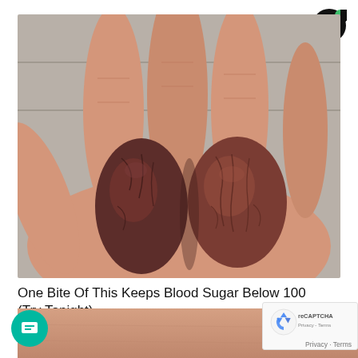[Figure (logo): Black circular logo with white C cutout and small green quarter circle, top right corner]
[Figure (photo): Close-up photo of a human hand holding two large dark brown dried dates (Medjool dates) against a blurred tile background]
One Bite Of This Keeps Blood Sugar Below 100 (Try Tonight)
Growthmax  15
[Figure (photo): Partial bottom strip showing close-up skin texture image]
[Figure (logo): Google reCAPTCHA badge with blue recycling-arrow logo]
Privacy · Terms